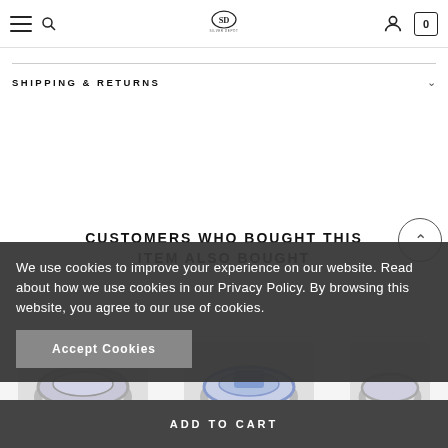Silver Depot - Navigation bar with hamburger menu, search, logo, account, and cart (0)
SHIPPING & RETURNS
CUSTOMERS WHO BOUGHT THIS ITEM ALSO BOUGHT
We use cookies to improve your experience on our website. Read about how we use cookies in our Privacy Policy. By browsing this website, you agree to our use of cookies.
Accept Cookies
ADD TO CART